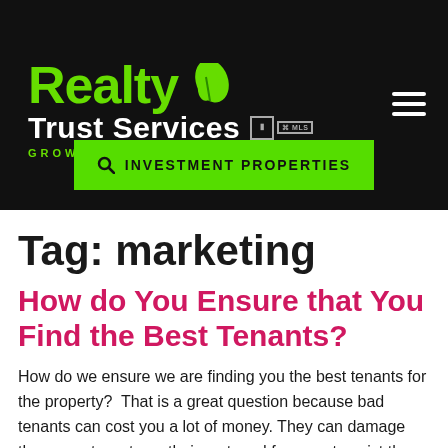[Figure (logo): Realty Trust Services logo with green leaf icon, white text, equal housing and MLS badges, tagline GROWING PROSPERITY]
INVESTMENT PROPERTIES (search button)
Tag: marketing
How do You Ensure that You Find the Best Tenants?
How do we ensure we are finding you the best tenants for the property?  That is a great question because bad tenants can cost you a lot of money. They can damage the property, not pay their rent, and force us to evict them. All of which